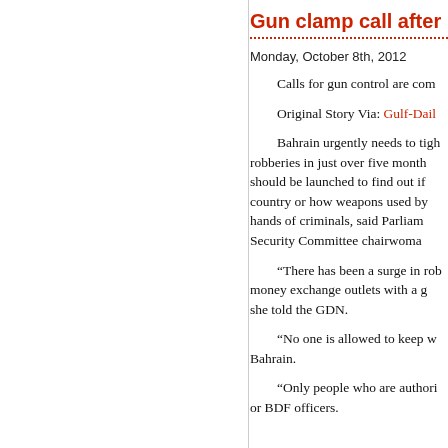Gun clamp call after rob
Monday, October 8th, 2012
Calls for gun control are com
Original Story Via: Gulf-Dail
Bahrain urgently needs to tigh robberies in just over five months should be launched to find out if country or how weapons used by hands of criminals, said Parliam Security Committee chairwoma
“There has been a surge in rob money exchange outlets with a g she told the GDN.
“No one is allowed to keep w Bahrain.
“Only people who are authori or BDF officers.